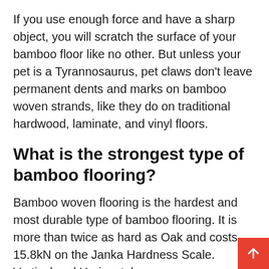If you use enough force and have a sharp object, you will scratch the surface of your bamboo floor like no other. But unless your pet is a Tyrannosaurus, pet claws don't leave permanent dents and marks on bamboo woven strands, like they do on traditional hardwood, laminate, and vinyl floors.
What is the strongest type of bamboo flooring?
Bamboo woven flooring is the hardest and most durable type of bamboo flooring. It is more than twice as hard as Oak and costs 15.8kN on the Janka Hardness Scale. Vertical and Horizontal bamboo floor rates at 6.2kN.